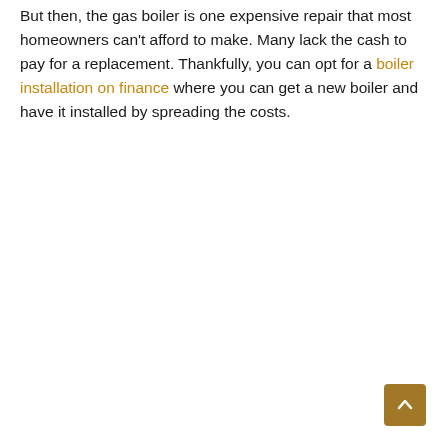But then, the gas boiler is one expensive repair that most homeowners can't afford to make. Many lack the cash to pay for a replacement. Thankfully, you can opt for a boiler installation on finance where you can get a new boiler and have it installed by spreading the costs.